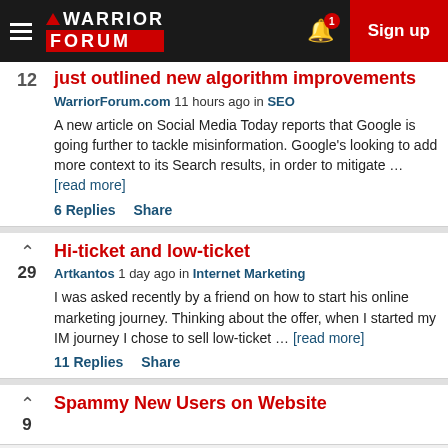Warrior Forum — Sign up
just outlined new algorithm improvements
WarriorForum.com 11 hours ago in SEO
A new article on Social Media Today reports that Google is going further to tackle misinformation. Google's looking to add more context to its Search results, in order to mitigate ... [read more]
6 Replies   Share
Hi-ticket and low-ticket
Artkantos 1 day ago in Internet Marketing
I was asked recently by a friend on how to start his online marketing journey. Thinking about the offer, when I started my IM journey I chose to sell low-ticket ... [read more]
11 Replies   Share
Spammy New Users on Website